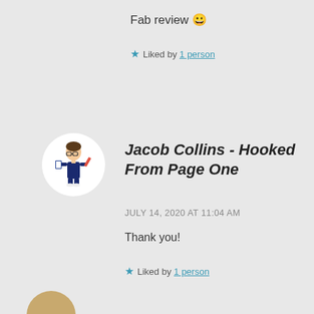Fab review 😀
★ Liked by 1 person
Jacob Collins - Hooked From Page One
JULY 14, 2020 AT 11:04 AM
Thank you!
★ Liked by 1 person